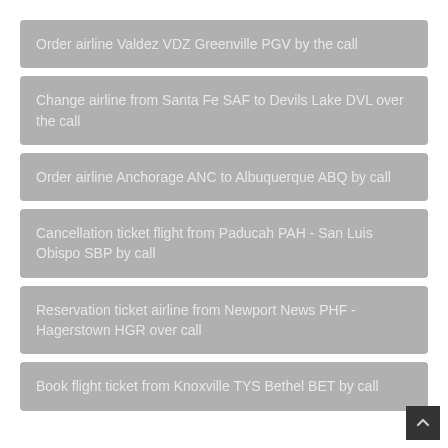Order airline Valdez VDZ Greenville PGV by the call
Change airline from Santa Fe SAF to Devils Lake DVL over the call
Order airline Anchorage ANC to Albuquerque ABQ by call
Cancellation ticket flight from Paducah PAH - San Luis Obispo SBP by call
Reservation ticket airline from Newport News PHF - Hagerstown HGR over call
Book flight ticket from Knoxville TYS Bethel BET by call